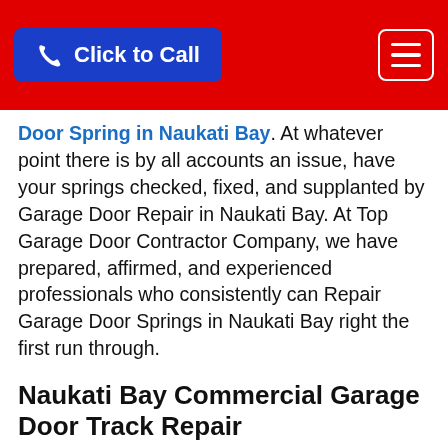Click to Call [navigation header with hamburger menu]
Door Spring in Naukati Bay. At whatever point there is by all accounts an issue, have your springs checked, fixed, and supplanted by Garage Door Repair in Naukati Bay. At Top Garage Door Contractor Company, we have prepared, affirmed, and experienced professionals who consistently can Repair Garage Door Springs in Naukati Bay right the first run through.
Naukati Bay Commercial Garage Door Track Repair
Insulated doors are ideal for industrial environments, the Insulated Garage Doors help maintain a controlled climate. Most types of doors can be fitted to be insulated. A must-have for any precision manufacturing business. We at Top